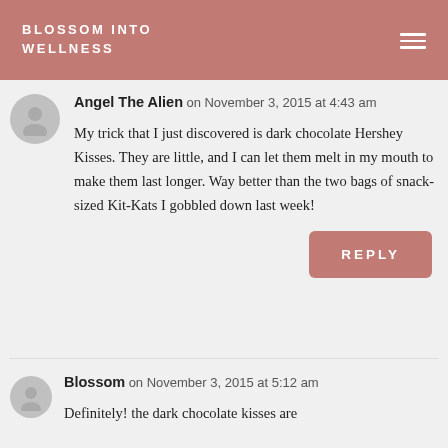BLOSSOM INTO WELLNESS
Angel The Alien on November 3, 2015 at 4:43 am
My trick that I just discovered is dark chocolate Hershey Kisses. They are little, and I can let them melt in my mouth to make them last longer. Way better than the two bags of snack-sized Kit-Kats I gobbled down last week!
Blossom on November 3, 2015 at 5:12 am
Definitely! the dark chocolate kisses are